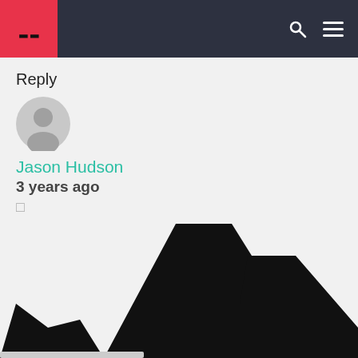Header bar with logo and navigation icons
Reply
[Figure (illustration): Default grey user avatar circle]
Jason Hudson
3 years ago
↑
Is it a good idea to leave few titles to Axis so I could build my forts behind rivers?
[Figure (illustration): Black silhouette shape visible at bottom of page, likely a game or map icon]